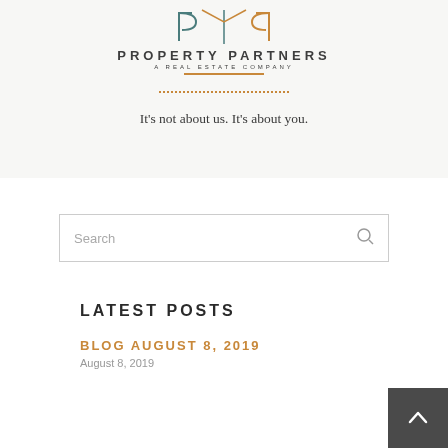[Figure (logo): Property Partners A Real Estate Company logo with geometric P shape in orange and teal outline]
It’s not about us. It’s about you.
[Figure (other): Search input box with placeholder text 'Search' and a magnifying glass icon]
LATEST POSTS
BLOG AUGUST 8, 2019
August 8, 2019